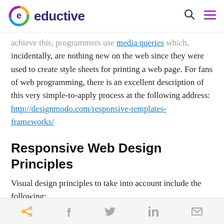eductive
achieve this, programmers use media queries which, incidentally, are nothing new on the web since they were used to create style sheets for printing a web page. For fans of web programming, there is an excellent description of this very simple-to-apply process at the following address: http://designmodo.com/responsive-templates-frameworks/
Responsive Web Design Principles
Visual design principles to take into account include the following:
Prioritize the information density for it...
Share icons: share, facebook, twitter, linkedin, email